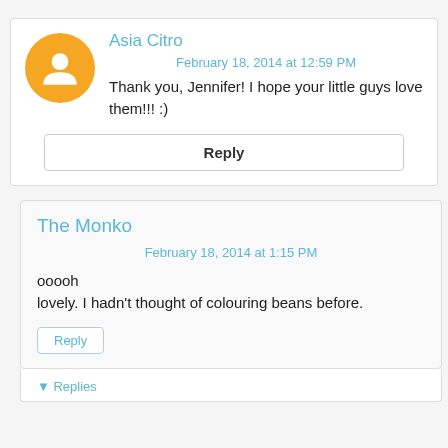Asia Citro
February 18, 2014 at 12:59 PM
Thank you, Jennifer! I hope your little guys love them!!! :)
Reply
The Monko
February 18, 2014 at 1:15 PM
ooooh lovely. I hadn't thought of colouring beans before.
Reply
Replies